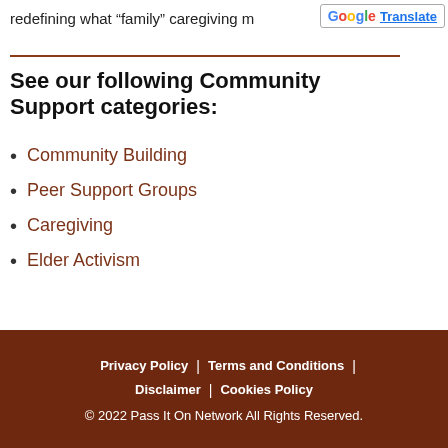redefining what “family” caregiving m…
See our following Community Support categories:
Community Building
Peer Support Groups
Caregiving
Elder Activism
Privacy Policy | Terms and Conditions | Disclaimer | Cookies Policy © 2022 Pass It On Network All Rights Reserved.